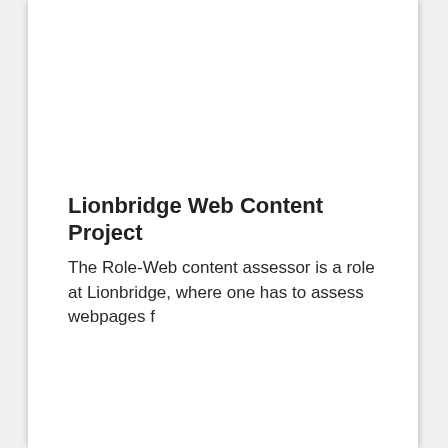Lionbridge Web Content Project
The Role-Web content assessor is a role at Lionbridge, where one has to assess webpages for quality and accuracy, and so on. The job is